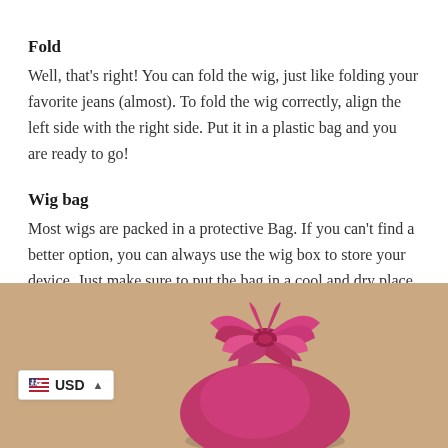Fold
Well, that's right! You can fold the wig, just like folding your favorite jeans (almost). To fold the wig correctly, align the left side with the right side. Put it in a plastic bag and you are ready to go!
Wig bag
Most wigs are packed in a protective Bag. If you can't find a better option, you can always use the wig box to store your device. Just make sure to put the bag in a cool and dry place.
[Figure (photo): A pink/magenta satin wig bag gathered at the top with a ribbon tie, resting on a tan/beige background. A USD currency selector badge is overlaid in the bottom-left corner.]